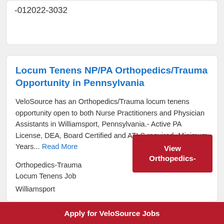-012022-3032
Locum Tenens NP/PA Orthopedics/Trauma Opportunity in Pennsylvania
VeloSource has an Orthopedics/Trauma locum tenens opportunity open to both Nurse Practitioners and Physician Assistants in Williamsport, Pennsylvania.- Active PA License, DEA, Board Certified and ATLS required- Minimum Years... Read More
Orthopedics-Trauma Locum Tenens Job
Williamsport
View Orthopedics-
Apply for VeloSource Jobs